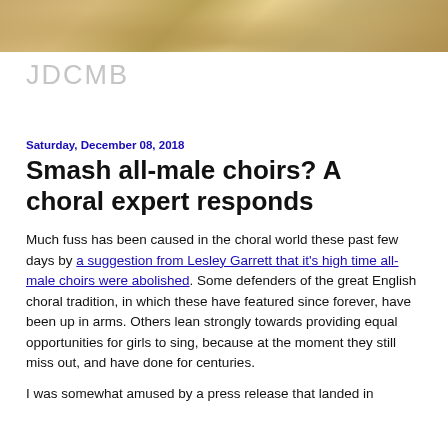[Figure (illustration): Decorative header image with warm golden-brown tones suggesting autumn leaves or botanical motifs]
JDCMB
Saturday, December 08, 2018
Smash all-male choirs? A choral expert responds
Much fuss has been caused in the choral world these past few days by a suggestion from Lesley Garrett that it's high time all-male choirs were abolished. Some defenders of the great English choral tradition, in which these have featured since forever, have been up in arms. Others lean strongly towards providing equal opportunities for girls to sing, because at the moment they still miss out, and have done for centuries.
I was somewhat amused by a press release that landed in